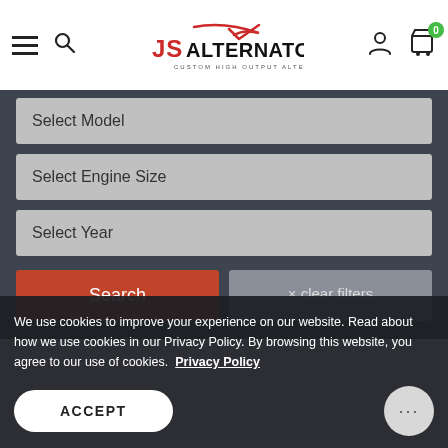[Figure (screenshot): JS Alternators website header with hamburger menu, search icon, logo, user icon, and cart icon with badge 0]
Select Model
Select Engine Size
Select Year
Search
× clear filters
We use cookies to improve your experience on our website. Read about how we use cookies in our Privacy Policy. By browsing this website, you agree to our use of cookies.  Privacy Policy
ACCEPT